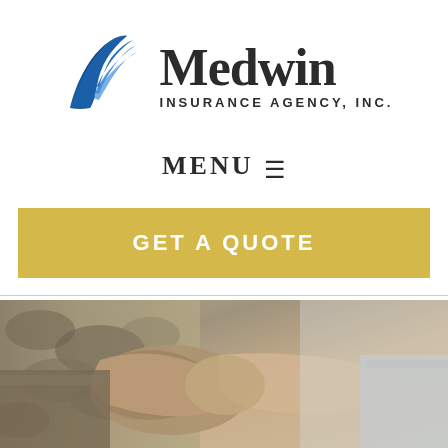[Figure (logo): Medwin Insurance Agency, Inc. logo with blue bird/wing graphic and company name text]
MENU ☰
GET A QUOTE
[Figure (photo): Two people shaking hands, one in military/camouflage uniform, photographed close-up]